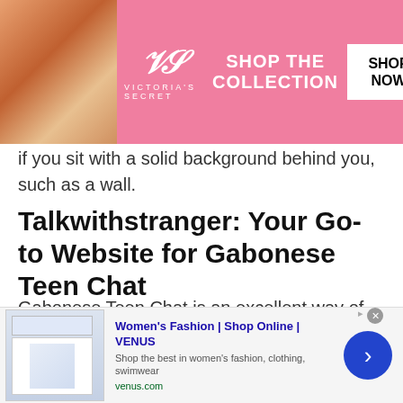[Figure (screenshot): Victoria's Secret advertisement banner with model, VS logo, 'SHOP THE COLLECTION' text, and 'SHOP NOW' button on pink background]
if you sit with a solid background behind you, such as a wall.
Talkwithstranger: Your Go-to Website for Gabonese Teen Chat
Gabonese Teen Chat is an excellent way of getting to know people, whether you belong to Gabon or not. The best platform to use for this purpose is undoubtedly Talkwithstranger! Our website allows you to communicate with people from any part of the world
[Figure (screenshot): Women's Fashion VENUS advertisement banner with website screenshot thumbnail, title 'Women's Fashion | Shop Online | VENUS', description 'Shop the best in women's fashion, clothing, swimwear', URL 'venus.com', and blue arrow button]